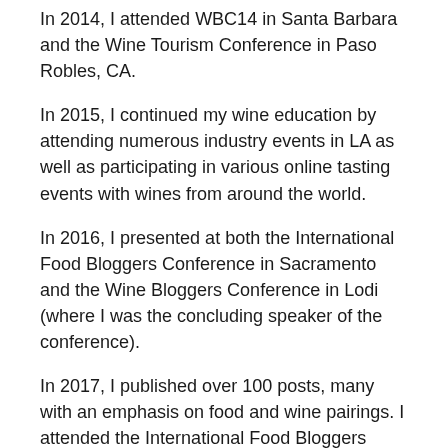In 2014, I attended WBC14 in Santa Barbara and the Wine Tourism Conference in Paso Robles, CA.
In 2015, I continued my wine education by attending numerous industry events in LA as well as participating in various online tasting events with wines from around the world.
In 2016, I presented at both the International Food Bloggers Conference in Sacramento and the Wine Bloggers Conference in Lodi (where I was the concluding speaker of the conference).
In 2017, I published over 100 posts, many with an emphasis on food and wine pairings. I attended the International Food Bloggers Conference in Sacramento and the Wine Bloggers Conference in Santa Rosa. Press trips took me to LA, Lodi, San Luis Obispo, Napa, Lake, El Dorado, and Mendocino counties.
In 2018, in addition to attending industry wine events in LA, I joined the LA Wine Writers group for luncheons and a week long press trip to Oregon. With help from Sue Hill, I published almost 100 articles.
In February 2019, I took the VinItaly Italian Wine Ambassador Course in